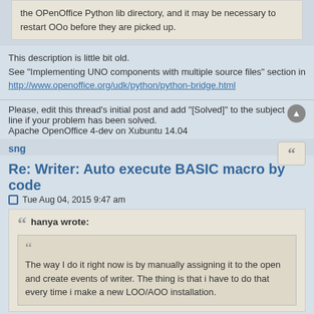the OPenOffice Python lib directory, and it may be necessary to restart OOo before they are picked up.
This description is little bit old.
See "Implementing UNO components with multiple source files" section in
http://www.openoffice.org/udk/python/python-bridge.html
Please, edit this thread's initial post and add "[Solved]" to the subject line if your problem has been solved.
Apache OpenOffice 4-dev on Xubuntu 14.04
sng
Re: Writer: Auto execute BASIC macro by code
Tue Aug 04, 2015 9:47 am
hanya wrote:
The way I do it right now is by manually assigning it to the open and create events of writer. The thing is that i have to do that every time i make a new LOO/AOO installation.